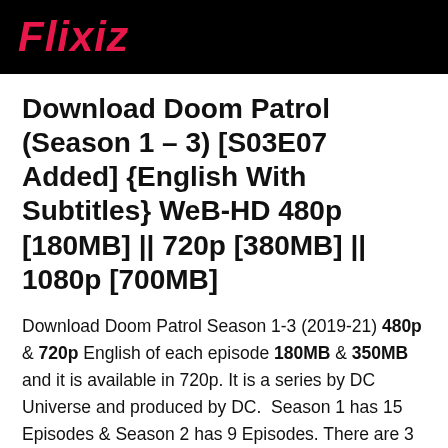Flixiz
Download Doom Patrol (Season 1 – 3) [S03E07 Added] {English With Subtitles} WeB-HD 480p [180MB] || 720p [380MB] || 1080p [700MB]
Download Doom Patrol Season 1-3 (2019-21) 480p & 720p English of each episode 180MB & 350MB and it is available in 720p. It is a series by DC Universe and produced by DC.  Season 1 has 15 Episodes & Season 2 has 9 Episodes. There are 3 seasons released for now. This series is based on Action, Sci-Fi and Comedy. This series is not available in Hindi...